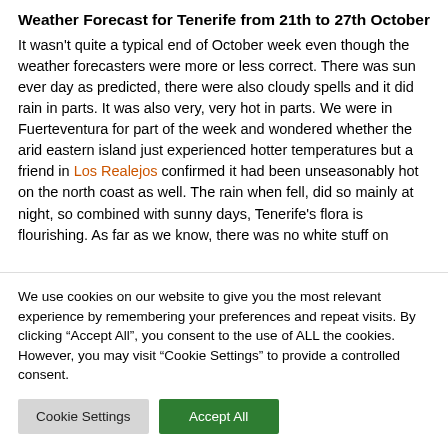Weather Forecast for Tenerife from 21th to 27th October
It wasn't quite a typical end of October week even though the weather forecasters were more or less correct. There was sun ever day as predicted, there were also cloudy spells and it did rain in parts. It was also very, very hot in parts. We were in Fuerteventura for part of the week and wondered whether the arid eastern island just experienced hotter temperatures but a friend in Los Realejos confirmed it had been unseasonably hot on the north coast as well. The rain when fell, did so mainly at night, so combined with sunny days, Tenerife's flora is flourishing. As far as we know, there was no white stuff on
We use cookies on our website to give you the most relevant experience by remembering your preferences and repeat visits. By clicking "Accept All", you consent to the use of ALL the cookies. However, you may visit "Cookie Settings" to provide a controlled consent.